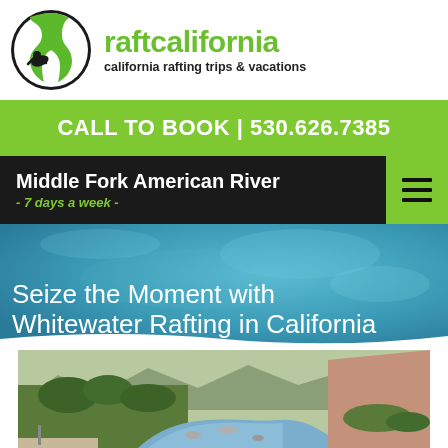[Figure (logo): RaftCalifornia logo: circular emblem with green wave and rafter silhouette, with green text 'raftcalifornia' and black tagline 'california rafting trips & vacations']
CALL TO BOOK | 530.626.7385
Middle Fork American River - 7 days a week -
Seize the Moment with Whitewater Rafting in California
[Figure (photo): Scenic photo of a river flowing through a rocky canyon with green trees and shrubs on the banks, mountain landscape in background]